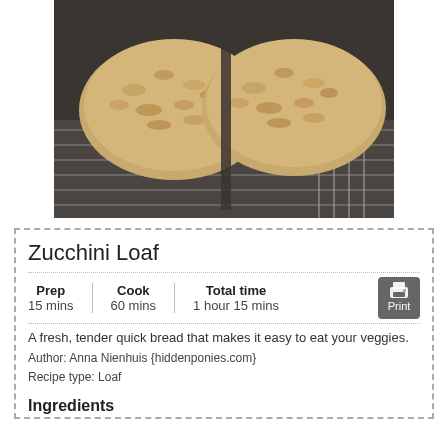[Figure (photo): Two oat-topped zucchini loaves cooling on a wire rack on a dark granite countertop, viewed from above.]
Zucchini Loaf
Prep: 15 mins | Cook: 60 mins | Total time: 1 hour 15 mins
A fresh, tender quick bread that makes it easy to eat your veggies.
Author: Anna Nienhuis {hiddenponies.com}
Recipe type: Loaf
Ingredients